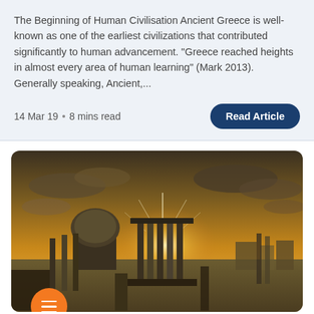The Beginning of Human Civilisation Ancient Greece is well-known as one of the earliest civilizations that contributed significantly to human advancement. “Greece reached heights in almost every area of human learning” (Mark 2013). Generally speaking, Ancient,...
14 Mar 19 · 8 mins read
[Figure (photo): Photograph of ancient Roman ruins including columns and a domed building against a dramatic golden sunset sky with clouds]
Exploring Ancient Cities